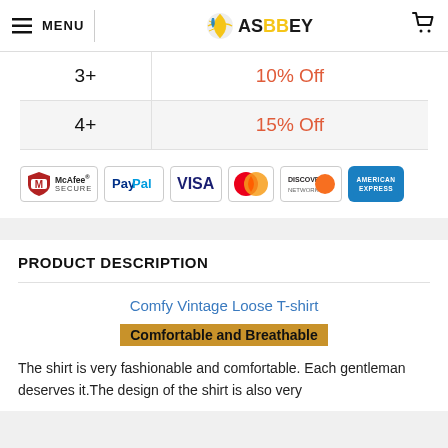MENU | ASBBEY
| Qty | Discount |
| --- | --- |
| 3+ | 10% Off |
| 4+ | 15% Off |
[Figure (other): Payment security badges: McAfee SECURE, PayPal, VISA, MasterCard, Discover Network, American Express]
PRODUCT DESCRIPTION
Comfy Vintage Loose T-shirt
Comfortable and Breathable
The shirt is very fashionable and comfortable. Each gentleman deserves it.The design of the shirt is also very